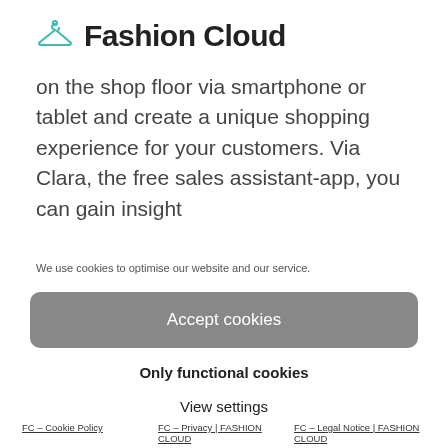Fashion Cloud
on the shop floor via smartphone or tablet and create a unique shopping experience for your customers. Via Clara, the free sales assistant-app, you can gain insight
We use cookies to optimise our website and our service.
Accept cookies
Only functional cookies
View settings
FC – Cookie Policy | FC – Privacy | FASHION CLOUD | FC – Legal Notice | FASHION CLOUD